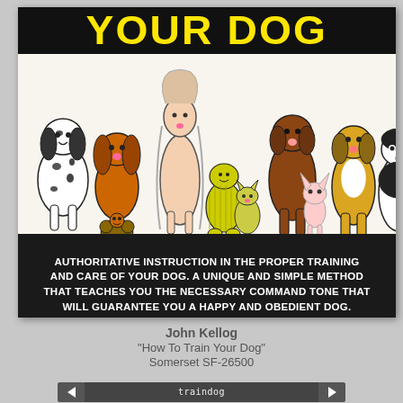[Figure (illustration): Album cover for 'How To Train Your Dog' by John Kellog on Somerset SF-26500. Top section has yellow bold text 'YOUR DOG' on black background. Middle section shows cartoon illustrations of various dog breeds (Dalmatian, Cocker Spaniel, Afghan Hound, Terrier, Retriever, Beagle, Boston Terrier, Chihuahua, Poodle) on cream background. Bottom black bar contains descriptive text and BizarreRecords.com watermark.]
John Kellog
"How To Train Your Dog"
Somerset SF-26500
traindog